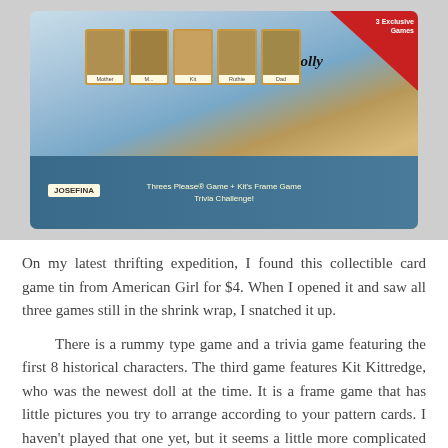[Figure (photo): Photo of an American Girl collectible card game tin showing characters including Josefina and Molly, with text 'Threes Please Game + Kit's Frame Game Trivia Challenge' and '3 Exclusive Games' on a red corner banner]
On my latest thrifting expedition, I found this collectible card game tin from American Girl for $4. When I opened it and saw all three games still in the shrink wrap, I snatched it up.
There is a rummy type game and a trivia game featuring the first 8 historical characters. The third game features Kit Kittredge, who was the newest doll at the time. It is a frame game that has little pictures you try to arrange according to your pattern cards. I haven't played that one yet, but it seems a little more complicated than the others.
One of my favorite aspects is the artwork. Each doll's suit shows pictures of people and things in her era. This helps...